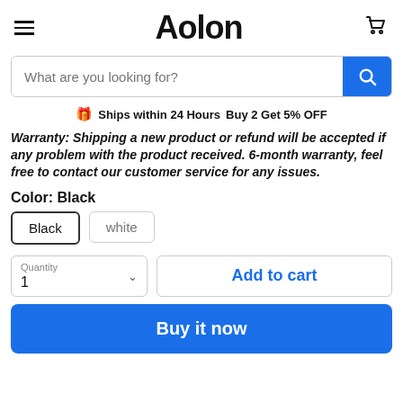Aolon
What are you looking for?
Ships within 24 Hours  Buy 2 Get 5% OFF
Warranty: Shipping a new product or refund will be accepted if any problem with the product received. 6-month warranty, feel free to contact our customer service for any issues.
Color: Black
Black
white
Quantity 1
Add to cart
Buy it now